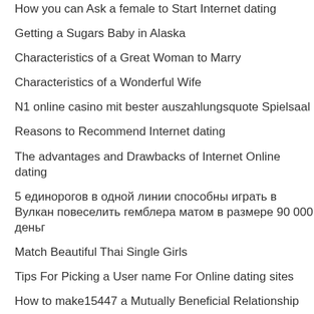How you can Ask a female to Start Internet dating
Getting a Sugars Baby in Alaska
Characteristics of a Great Woman to Marry
Characteristics of a Wonderful Wife
N1 online casino mit bester auszahlungsquote Spielsaal
Reasons to Recommend Internet dating
The advantages and Drawbacks of Internet Online dating
5 единорогов в одной линии способны играть в Вулкан повеселить гемблера матом в размере 90 000 деньг
Match Beautiful Thai Single Girls
Tips For Picking a User name For Online dating sites
How to make15447 a Mutually Beneficial Relationship